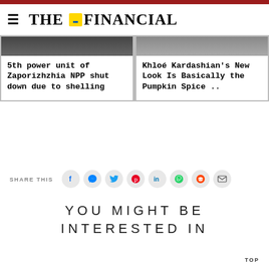THE FINANCIAL
[Figure (photo): News card image - dark photo top area]
5th power unit of Zaporizhzhia NPP shut down due to shelling
[Figure (photo): News card image - Khloé Kardashian photo]
Khloé Kardashian's New Look Is Basically the Pumpkin Spice ..
SHARE THIS
[Figure (infographic): Social share buttons: Facebook, Messenger, Twitter, Pinterest, LinkedIn, WhatsApp, Reddit, Email]
YOU MIGHT BE INTERESTED IN
TOP